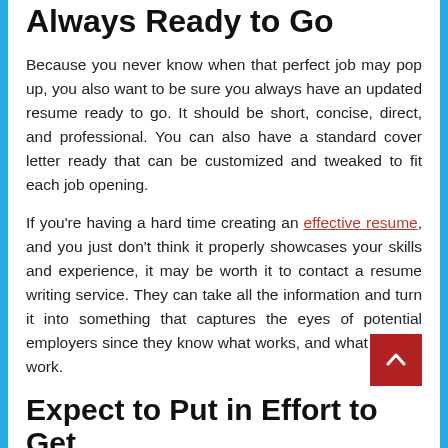Always Ready to Go
Because you never know when that perfect job may pop up, you also want to be sure you always have an updated resume ready to go. It should be short, concise, direct, and professional. You can also have a standard cover letter ready that can be customized and tweaked to fit each job opening.
If you're having a hard time creating an effective resume, and you just don't think it properly showcases your skills and experience, it may be worth it to contact a resume writing service. They can take all the information and turn it into something that captures the eyes of potential employers since they know what works, and what doesn't work.
Expect to Put in Effort to Get